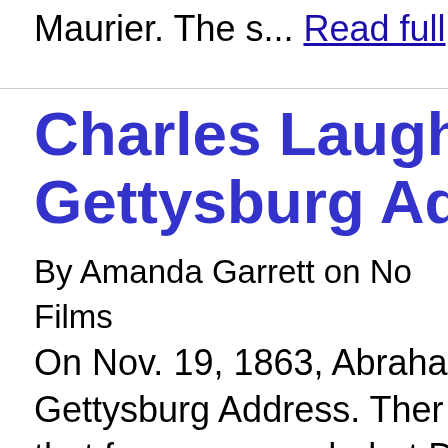Maurier. The s... Read full
Charles Laughto Gettysburg Add
By Amanda Garrett on No Films
On Nov. 19, 1863, Abraha Gettysburg Address. Ther that famous speech, but D